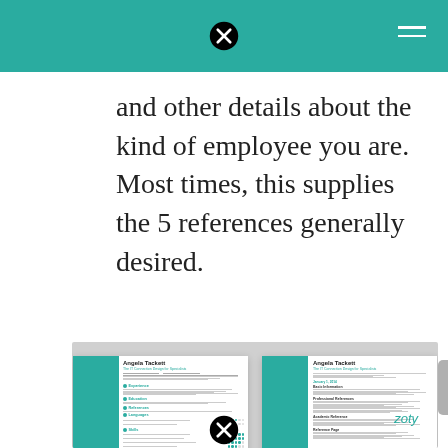and other details about the kind of employee you are. Most times, this supplies the 5 references generally desired.
[Figure (illustration): Two sample resume pages side by side showing a teal/green resume template for 'Angela Tackett' with a sidebar column layout. The resumes show sections including experience, education, references, languages, and skills with dot-rating indicators. A 'zoty' watermark appears in the bottom right. The image has a light gray background.]